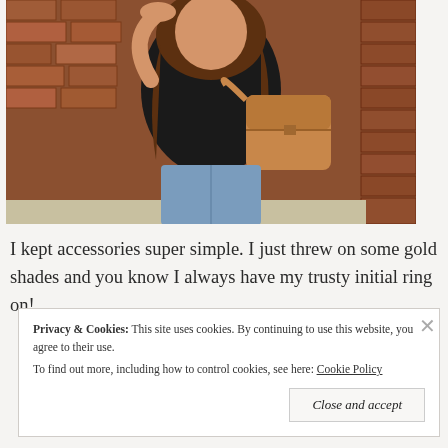[Figure (photo): A woman wearing a black top and light blue jeans, carrying a tan/camel leather messenger bag, standing in front of a brick wall. She is blowing a kiss toward the camera.]
I kept accessories super simple. I just threw on some gold shades and you know I always have my trusty initial ring on!
Privacy & Cookies: This site uses cookies. By continuing to use this website, you agree to their use.
To find out more, including how to control cookies, see here: Cookie Policy